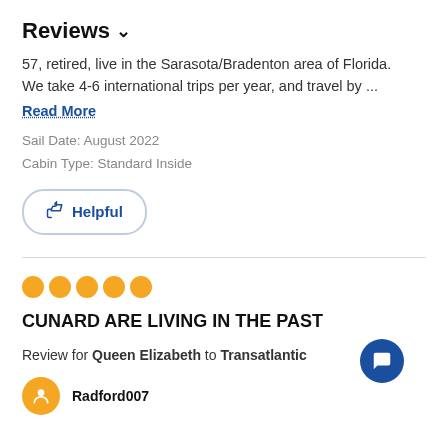Reviews ˅
57, retired, live in the Sarasota/Bradenton area of Florida. We take 4-6 international trips per year, and travel by ...
Read More
Sail Date: August 2022
Cabin Type: Standard Inside
👍 Helpful
[Figure (other): Five orange filled circle dots representing a 5-star rating]
CUNARD ARE LIVING IN THE PAST
Review for Queen Elizabeth to Transatlantic
Radford007